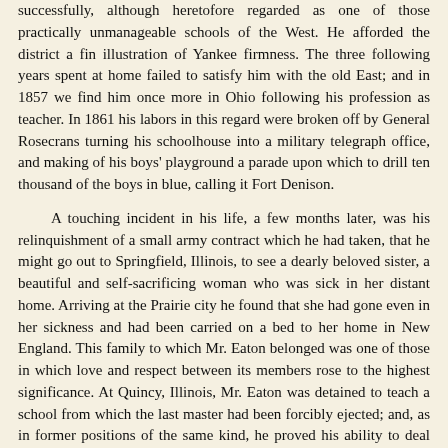successfully, although heretofore regarded as one of those practically unmanageable schools of the West. He afforded the district a fin illustration of Yankee firmness. The three following years spent at home failed to satisfy him with the old East; and in 1857 we find him once more in Ohio following his profession as teacher. In 1861 his labors in this regard were broken off by General Rosecrans turning his schoolhouse into a military telegraph office, and making of his boys' playground a parade upon which to drill ten thousand of the boys in blue, calling it Fort Denison.
A touching incident in his life, a few months later, was his relinquishment of a small army contract which he had taken, that he might go out to Springfield, Illinois, to see a dearly beloved sister, a beautiful and self-sacrificing woman who was sick in her distant home. Arriving at the Prairie city he found that she had gone even in her sickness and had been carried on a bed to her home in New England. This family to which Mr. Eaton belonged was one of those in which love and respect between its members rose to the highest significance. At Quincy, Illinois, Mr. Eaton was detained to teach a school from which the last master had been forcibly ejected; and, as in former positions of the same kind, he proved his ability to deal with refractory pupils.
During these months he had been revolving the advisability of a change to the Pacific coast, and in May was ready to make the journey, having in the meantime read a farewell address to the people, and patrons of the school, and arranged all his business affairs with a view to his departure. He began the arduous trip on the seventh of the month, in company with his brother-in-law A.L. Brown, and one other. The first day out they overtook Doctors Rudd and Griswold; and they five remained together in fraternal bonds until arriving at the present site of Baker City, having met with hairbreadth escapes, buried victims of the barbarous Indians, and